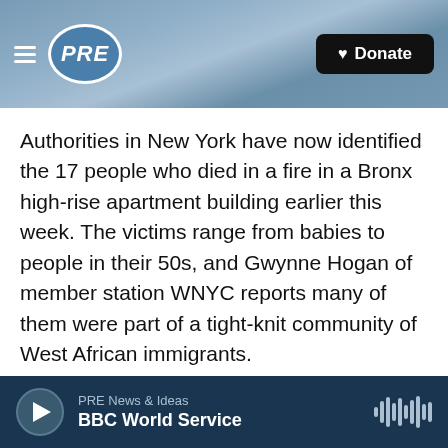[Figure (logo): PRE (Public Radio Exchange) logo with hamburger menu icon and navy circular PRE badge, ocean wave background, black Donate button with heart icon]
Authorities in New York have now identified the 17 people who died in a fire in a Bronx high-rise apartment building earlier this week. The victims range from babies to people in their 50s, and Gwynne Hogan of member station WNYC reports many of them were part of a tight-knit community of West African immigrants.
GWYNNE HOGAN, BYLINE: At the Islamic Cultural Center of the Bronx, Uber driver from Mali, Mamadou Wague, was finishing his evening prayers. The fire started in his apartment. He lived there with his wife and their eight children.
PRE News & Ideas | BBC World Service